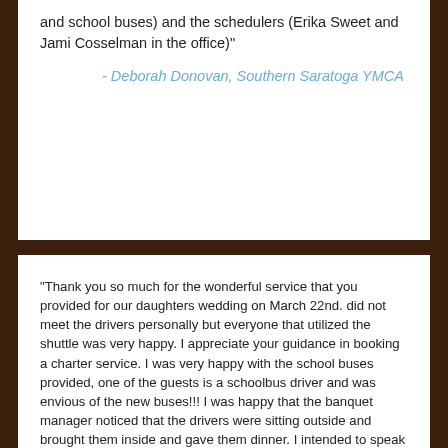and school buses) and the schedulers (Erika Sweet and Jami Cosselman in the office)"
- Deborah Donovan, Southern Saratoga YMCA
"Thank you so much for the wonderful service that you provided for our daughters wedding on March 22nd. did not meet the drivers personally but everyone that utilized the shuttle was very happy. I appreciate your guidance in booking a charter service. I was very happy with the school buses provided, one of the guests is a schoolbus driver and was envious of the new buses!!! I was happy that the banquet manager noticed that the drivers were sitting outside and brought them inside and gave them dinner. I intended to speak to them but I couldn't move without having to speak to someone or do something!!!! Please let them know that I am very appreciative. Thanks again!"